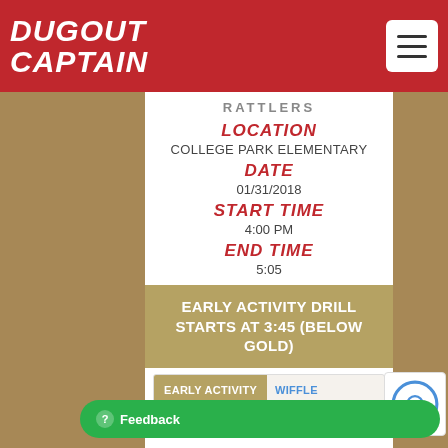DUGOUT CAPTAIN
RATTLERS
LOCATION
COLLEGE PARK ELEMENTARY
DATE
01/31/2018
START TIME
4:00 PM
END TIME
5:05
EARLY ACTIVITY DRILL STARTS AT 3:45 (BELOW GOLD)
EARLY ACTIVITY	WIFFLE CIRCLE